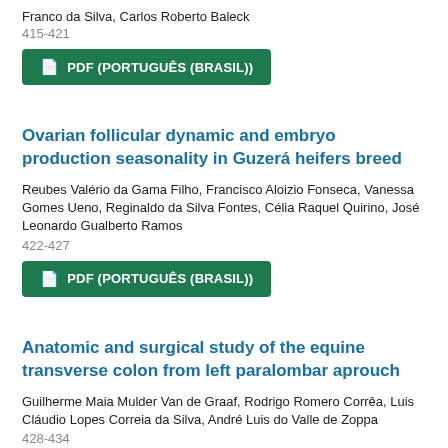Franco da Silva, Carlos Roberto Baleck
415-421
[Figure (other): Green PDF button labeled PDF (PORTUGUÊS (BRASIL))]
Ovarian follicular dynamic and embryo production seasonality in Guzerá heifers breed
Reubes Valério da Gama Filho, Francisco Aloizio Fonseca, Vanessa Gomes Ueno, Reginaldo da Silva Fontes, Célia Raquel Quirino, José Leonardo Gualberto Ramos
422-427
[Figure (other): Green PDF button labeled PDF (PORTUGUÊS (BRASIL))]
Anatomic and surgical study of the equine transverse colon from left paralombar aprouch
Guilherme Maia Mulder Van de Graaf, Rodrigo Romero Corrêa, Luis Cláudio Lopes Correia da Silva, André Luis do Valle de Zoppa
428-434
[Figure (other): Green PDF button labeled PDF (PORTUGUÊS (BRASIL))]